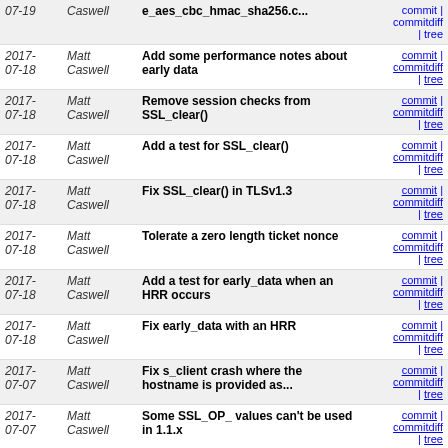| Date | Author | Message | Links |
| --- | --- | --- | --- |
| 2017-07-19 | Matt Caswell | e_aes_cbc_hmac_sha256.c... | commit | commitdiff | tree |
| 2017-07-18 | Matt Caswell | Add some performance notes about early data | commit | commitdiff | tree |
| 2017-07-18 | Matt Caswell | Remove session checks from SSL_clear() | commit | commitdiff | tree |
| 2017-07-18 | Matt Caswell | Add a test for SSL_clear() | commit | commitdiff | tree |
| 2017-07-18 | Matt Caswell | Fix SSL_clear() in TLSv1.3 | commit | commitdiff | tree |
| 2017-07-18 | Matt Caswell | Tolerate a zero length ticket nonce | commit | commitdiff | tree |
| 2017-07-18 | Matt Caswell | Add a test for early_data when an HRR occurs | commit | commitdiff | tree |
| 2017-07-18 | Matt Caswell | Fix early_data with an HRR | commit | commitdiff | tree |
| 2017-07-07 | Matt Caswell | Fix s_client crash where the hostname is provided as... | commit | commitdiff | tree |
| 2017-07-07 | Matt Caswell | Some SSL_OP_ values can't be used in 1.1.x | commit | commitdiff | tree |
| 2017-07-07 | Matt Caswell | Choose a safer value for SSL_OP_ALLOW_NO_DHE_KEX | commit | commitdiff | tree |
| 2017-07-07 | Matt Caswell | Update the documentation for the new SSL_OP_ALLOW_NO_DHE_KEX... | commit | commitdiff | tree |
| 2017-07-07 | Matt Caswell | Do not allow non-dhe kex_modes by default | commit | commitdiff | tree |
| 2017-07-07 | Matt Caswell | Updates following review feedback of TLSv1.3 draft | commit | commitdiff | tree |